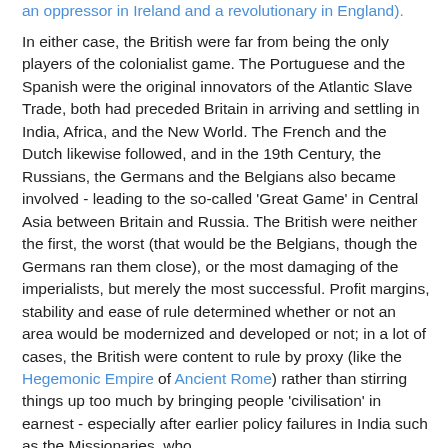an oppressor in Ireland and a revolutionary in England).

In either case, the British were far from being the only players of the colonialist game. The Portuguese and the Spanish were the original innovators of the Atlantic Slave Trade, both had preceded Britain in arriving and settling in India, Africa, and the New World. The French and the Dutch likewise followed, and in the 19th Century, the Russians, the Germans and the Belgians also became involved - leading to the so-called 'Great Game' in Central Asia between Britain and Russia. The British were neither the first, the worst (that would be the Belgians, though the Germans ran them close), or the most damaging of the imperialists, but merely the most successful. Profit margins, stability and ease of rule determined whether or not an area would be modernized and developed or not; in a lot of cases, the British were content to rule by proxy (like the Hegemonic Empire of Ancient Rome) rather than stirring things up too much by bringing people 'civilisation' in earnest - especially after earlier policy failures in India such as the Missionaries, who